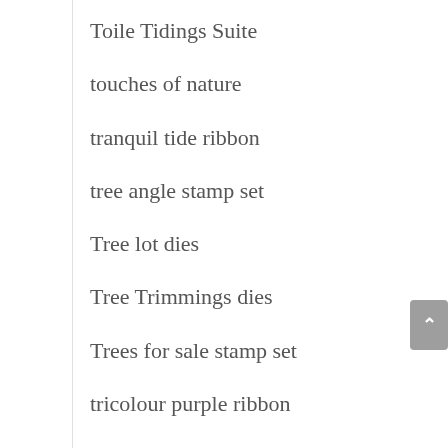Toile Tidings Suite
touches of nature
tranquil tide ribbon
tree angle stamp set
Tree lot dies
Tree Trimmings dies
Trees for sale stamp set
tricolour purple ribbon
Trimming the Town Suite